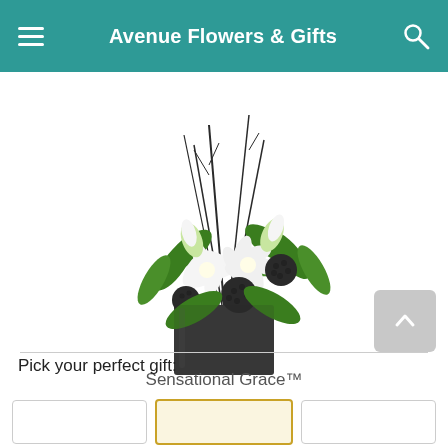Avenue Flowers & Gifts
FREE Same Day Delivery ends in: 11:25:22
[Figure (photo): Floral arrangement named Sensational Grace — white lilies, green leaves, dark sculptural balls, and bare dark twigs in a square dark charcoal vase, on white background.]
Sensational Grace™
Pick your perfect gift: